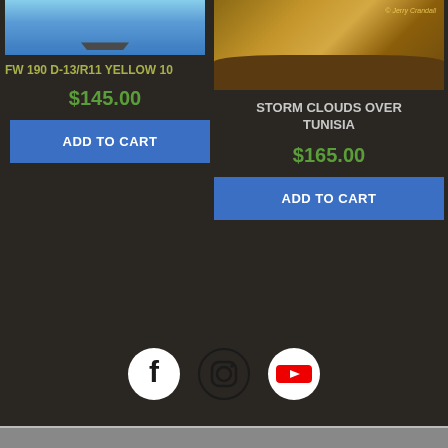[Figure (photo): Product image for FW 190 D-13/R11 Yellow 10 - airplane art print showing sky background]
FW 190 D-13/R11 YELLOW 10
$145.00
ADD TO CART
[Figure (photo): Product image for Storm Clouds Over Tunisia - desert scene with rocks and stormy sky, watermark: © Jerry Crandall]
STORM CLOUDS OVER TUNISIA
$165.00
ADD TO CART
[Figure (other): Social media icons row: Facebook, Instagram, YouTube]